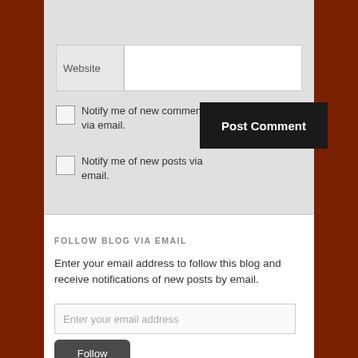[Figure (screenshot): Website form field with label 'Website' and blank text input area]
Notify me of new comments via email.
Notify me of new posts via email.
[Figure (screenshot): Post Comment button, dark/black background with white text]
FOLLOW BLOG VIA EMAIL
Enter your email address to follow this blog and receive notifications of new posts by email.
[Figure (screenshot): Enter your email address input field placeholder text]
[Figure (screenshot): Follow button, dark rounded rectangle]